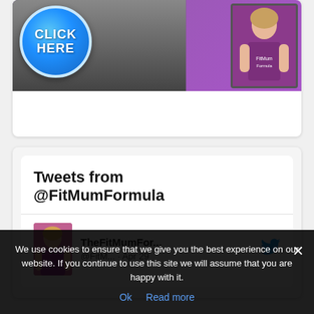[Figure (photo): Promotional image with a blue 'CLICK HERE' button circle on the left and a woman in a purple fitness top on the right, set against a purple/grey background]
Tweets from @FitMumFormula
TheFitMumFor... @FitM... · Apr 29
We use cookies to ensure that we give you the best experience on our website. If you continue to use this site we will assume that you are happy with it.
Ok   Read more